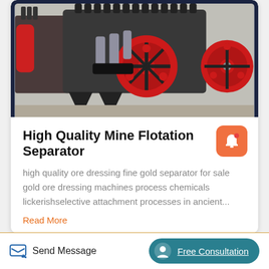[Figure (photo): Industrial mining flotation separator machine with red flywheel pulleys, black metal frame, springs and hydraulic components on factory floor]
High Quality Mine Flotation Separator
high quality ore dressing fine gold separator for sale gold ore dressing machines process chemicals lickerishselective attachment processes in ancient...
Read More
Send Message   Free Consultation